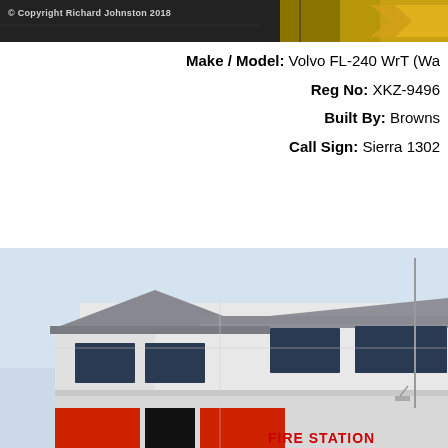[Figure (photo): Top portion of a fire engine/vehicle photo with copyright watermark overlay. Dark background with yellow/gold vehicle markings visible on the right side. Copyright text reads: © Copyright Richard Johnston 2018]
Make / Model: Volvo FL-240 WrT (Wa...
Reg No: XKZ-9496
Built By: Browns
Call Sign: Sierra 1302
SIERRA 14 LURGAN STATIO...
[Figure (photo): Photograph of Lurgan Fire Station building exterior. White modern two-storey building with large dark windows on both floors. Red 'FIRE STATION' text visible on the front of the building. Light blue sky in background. A flagpole is visible on the right side.]